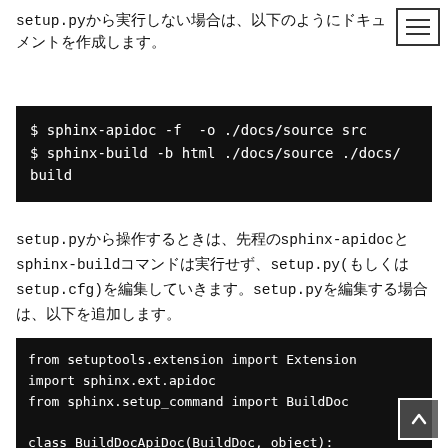setup.pyから実行しない場合は、以下のようにドキュメントを作成します。
$ sphinx-apidoc -f  -o ./docs/source src
$ sphinx-build -b html ./docs/source ./docs/build
setup.pyから操作するときは、先程のsphinx-apidocとsphinx-buildコマンドは実行せず、setup.py(もしくはsetup.cfg)を編集していきます。setup.pyを編集する場合は、以下を追加します。
from setuptools.extension import Extension
import sphinx.ext.apidoc
from sphinx.setup_command import BuildDoc

class BuildDocApiDoc(BuildDoc, object):
    user_options = []
    description = 'sphinx'
    def run(self):
        src_dir = 'src/my_project/sample'
        src_dir = os.path.join(os.getcwd(),